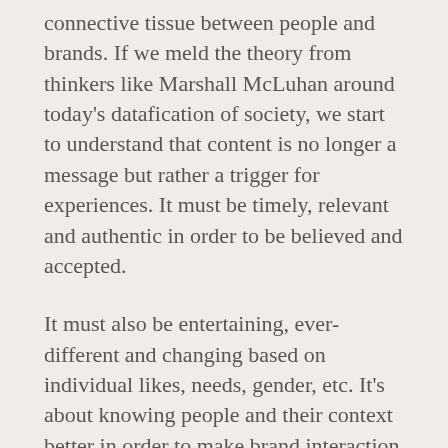connective tissue between people and brands. If we meld the theory from thinkers like Marshall McLuhan around today's datafication of society, we start to understand that content is no longer a message but rather a trigger for experiences. It must be timely, relevant and authentic in order to be believed and accepted.
It must also be entertaining, ever-different and changing based on individual likes, needs, gender, etc. It's about knowing people and their context better in order to make brand interaction as relevant as possible through data. The more passion areas and topics of interest we discover, the more connections and events can happen.